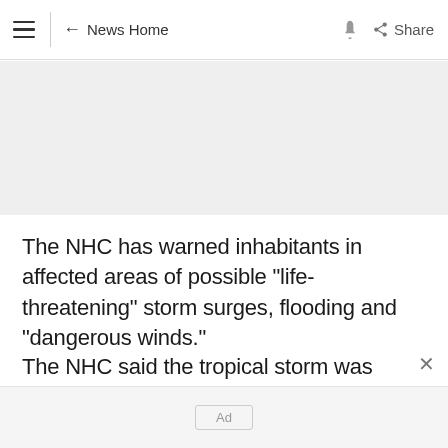≡  ← News Home   🔔   Share
[Figure (other): Gray banner / advertisement placeholder area]
The NHC has warned inhabitants in affected areas of possible "life-threatening" storm surges, flooding and "dangerous winds."
The NHC said the tropical storm was moving along eastern North Carolina with winds of up
Ad